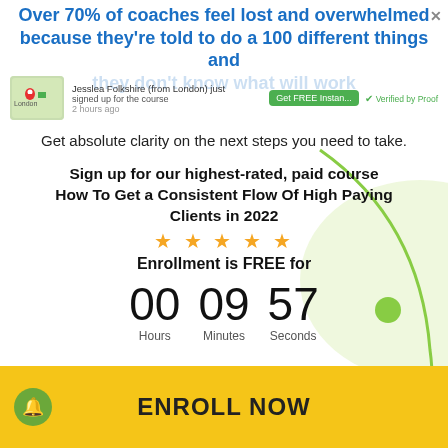Over 70% of coaches feel lost and overwhelmed because they're told to do a 100 different things and they don't know what will work
[Figure (screenshot): Notification popup showing a map thumbnail with London pin, a person named Jesslea Folkshire signed up for the course, 2 hours ago, with Get FREE Instant button and Verified by Proof badge]
Get absolute clarity on the next steps you need to take.
Sign up for our highest-rated, paid course How To Get a Consistent Flow Of High Paying Clients in 2022
★ ★ ★ ★ ★
Enrollment is FREE for
00 Hours  09 Minutes  57 Seconds
ENROLL NOW